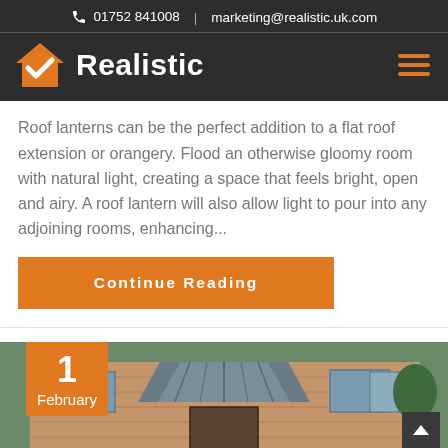📞 01752 841008  |  marketing@realistic.uk.com
[Figure (logo): Realistic company logo with orange house checkmark icon and white Realistic text on dark background, with hamburger menu icon]
Roof lanterns can be the perfect addition to a flat roof extension or orangery. Flood an otherwise gloomy room with natural light, creating a space that feels bright, open and airy. A roof lantern will also allow light to pour into any adjoining rooms, enhancing...
Continue Reading
[Figure (photo): Photograph of a brick house with a grey conservatory roof lantern structure, with an orange date badge showing '1 February' overlaid in the bottom-left corner, and a dark scroll-to-top arrow button in the bottom-right corner]